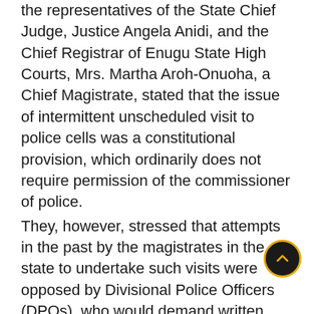the representatives of the State Chief Judge, Justice Angela Anidi, and the Chief Registrar of Enugu State High Courts, Mrs. Martha Aroh-Onuoha, a Chief Magistrate, stated that the issue of intermittent unscheduled visit to police cells was a constitutional provision, which ordinarily does not require permission of the commissioner of police. They, however, stressed that attempts in the past by the magistrates in the state to undertake such visits were opposed by Divisional Police Officers (DPOs), who would demand written permission from commissioner of police before granting them access. The representative of the police and OC Legal